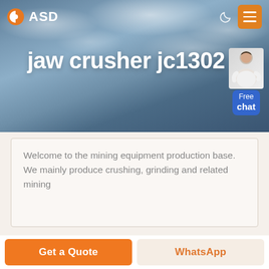[Figure (screenshot): Website header navigation bar with ASD logo (orange circle with half-fill icon), white ASD text, moon icon, and orange hamburger menu button on a cloudy sky background]
jaw crusher jc1302
[Figure (illustration): Customer service representative person with Free chat bubble in blue]
Welcome to the mining equipment production base. We mainly produce crushing, grinding and related mining
Get a Quote
WhatsApp